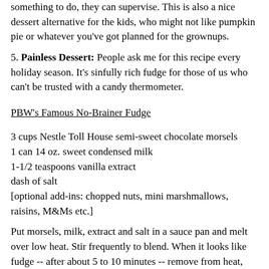something to do, they can supervise. This is also a nice dessert alternative for the kids, who might not like pumpkin pie or whatever you've got planned for the grownups.
5. Painless Dessert: People ask me for this recipe every holiday season. It's sinfully rich fudge for those of us who can't be trusted with a candy thermometer.
PBW's Famous No-Brainer Fudge
3 cups Nestle Toll House semi-sweet chocolate morsels
1 can 14 oz. sweet condensed milk
1-1/2 teaspoons vanilla extract
dash of salt
[optional add-ins: chopped nuts, mini marshmallows, raisins, M&Ms etc.]
Put morsels, milk, extract and salt in a sauce pan and melt over low heat. Stir frequently to blend. When it looks like fudge -- after about 5 to 10 minutes -- remove from heat, stir in your favorite chopped nuts, marshmallows, M&Ms or whatever. Pour into pan (I use an 8" pie pan), spread out,